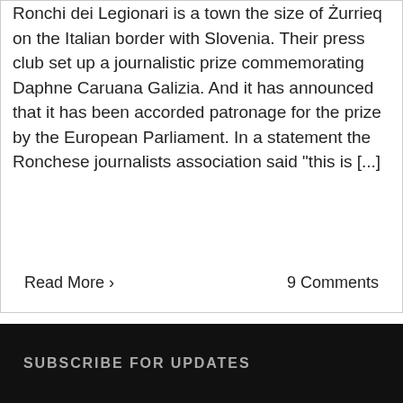Ronchi dei Legionari is a town the size of Żurrieq on the Italian border with Slovenia. Their press club set up a journalistic prize commemorating Daphne Caruana Galizia. And it has announced that it has been accorded patronage for the prize by the European Parliament. In a statement the Ronchese journalists association said "this is [...]
Read More ›
9 Comments
SUBSCRIBE FOR UPDATES